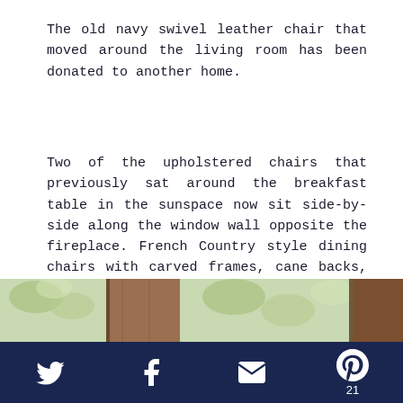The old navy swivel leather chair that moved around the living room has been donated to another home.
Two of the upholstered chairs that previously sat around the breakfast table in the sunspace now sit side-by-side along the window wall opposite the fireplace. French Country style dining chairs with carved frames, cane backs, and upholstered seats now sit around the antique French Country breakfast table.
[Figure (photo): Partial view of a room with greenery visible through a window and wooden furniture elements]
Twitter icon, Facebook icon, Email icon, Pinterest icon, 21